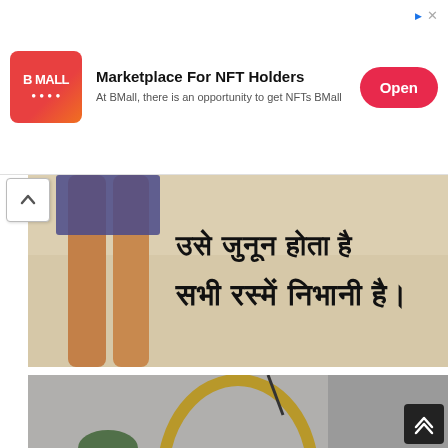[Figure (screenshot): Advertisement banner for BMall - Marketplace For NFT Holders with logo, tagline, and Open button]
[Figure (photo): Photo showing a person's legs standing, with Hindi text overlay reading 'सभी रस्में निभानी है।']
[Figure (photo): Photo of a room interior with a large oval gold-framed mirror leaning against the wall]